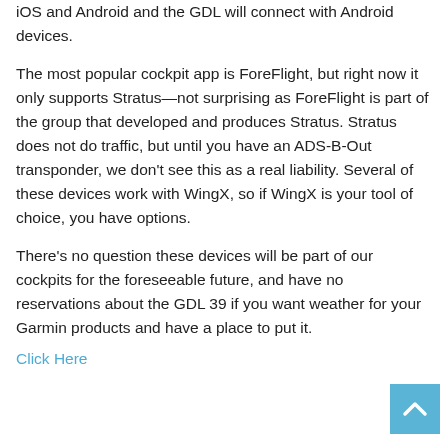iOS and Android and the GDL will connect with Android devices.
The most popular cockpit app is ForeFlight, but right now it only supports Stratus—not surprising as ForeFlight is part of the group that developed and produces Stratus. Stratus does not do traffic, but until you have an ADS-B-Out transponder, we don't see this as a real liability. Several of these devices work with WingX, so if WingX is your tool of choice, you have options.
There's no question these devices will be part of our cockpits for the foreseeable future, and have no reservations about the GDL 39 if you want weather for your Garmin products and have a place to put it.
Click Here